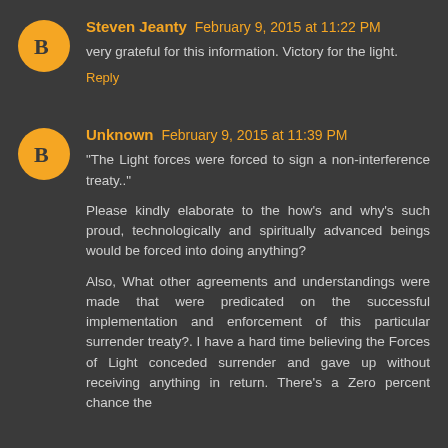Steven Jeanty February 9, 2015 at 11:22 PM
very grateful for this information. Victory for the light.
Reply
Unknown February 9, 2015 at 11:39 PM
"The Light forces were forced to sign a non-interference treaty.."

Please kindly elaborate to the how's and why's such proud, technologically and spiritually advanced beings would be forced into doing anything?

Also, What other agreements and understandings were made that were predicated on the successful implementation and enforcement of this particular surrender treaty?. I have a hard time believing the Forces of Light conceded surrender and gave up without receiving anything in return. There's a Zero percent chance the